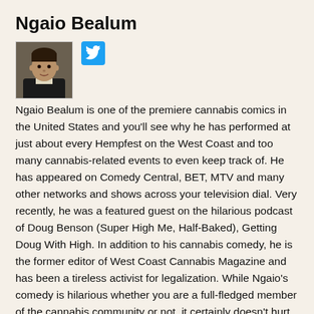Ngaio Bealum
[Figure (photo): Profile photo of Ngaio Bealum, a man in dark clothing against a neutral background, with a Twitter/X social media icon next to it]
Ngaio Bealum is one of the premiere cannabis comics in the United States and you'll see why he has performed at just about every Hempfest on the West Coast and too many cannabis-related events to even keep track of. He has appeared on Comedy Central, BET, MTV and many other networks and shows across your television dial. Very recently, he was a featured guest on the hilarious podcast of Doug Benson (Super High Me, Half-Baked), Getting Doug With High. In addition to his cannabis comedy, he is the former editor of West Coast Cannabis Magazine and has been a tireless activist for legalization. While Ngaio's comedy is hilarious whether you are a full-fledged member of the cannabis community or not, it certainly doesn't hurt. You should follow him on Twitter @ngaio420